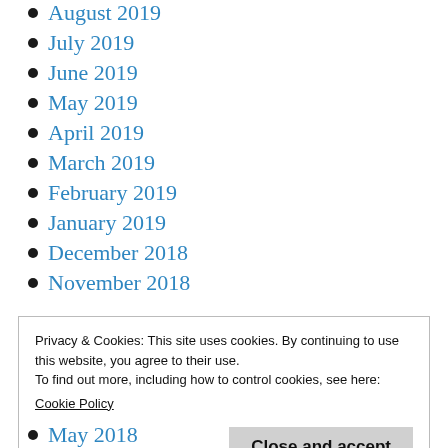August 2019
July 2019
June 2019
May 2019
April 2019
March 2019
February 2019
January 2019
December 2018
November 2018
Privacy & Cookies: This site uses cookies. By continuing to use this website, you agree to their use.
To find out more, including how to control cookies, see here:
Cookie Policy
May 2018